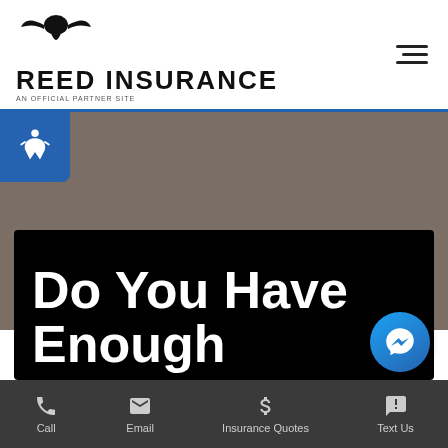REED INSURANCE
[Figure (screenshot): Reed Insurance website screenshot showing logo with eagle, hamburger menu, accessibility button, hero background image, video thumbnail with 'Do You Have Enough' text, Facebook Messenger chat button, and bottom navigation bar with Call, Email, Insurance Quotes, Text Us]
Do You Have
Enough
Call | Email | Insurance Quotes | Text Us